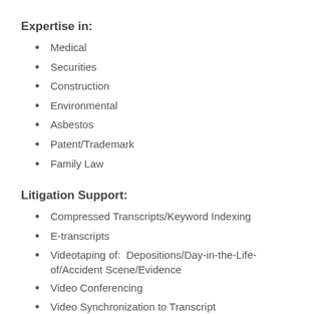Expertise in:
Medical
Securities
Construction
Environmental
Asbestos
Patent/Trademark
Family Law
Litigation Support:
Compressed Transcripts/Keyword Indexing
E-transcripts
Videotaping of:  Depositions/Day-in-the-Life-of/Accident Scene/Evidence
Video Conferencing
Video Synchronization to Transcript